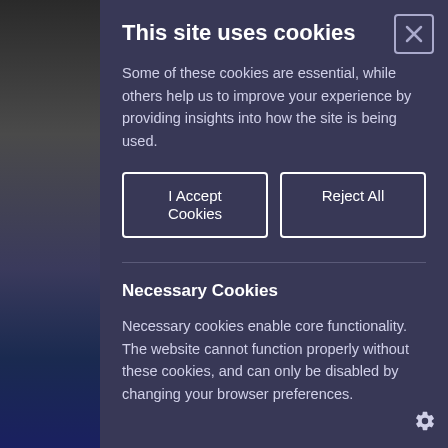[Figure (screenshot): Background photo strip on the left side showing a person partially visible]
This site uses cookies
Some of these cookies are essential, while others help us to improve your experience by providing insights into how the site is being used.
I Accept Cookies | Reject All (buttons)
Necessary Cookies
Necessary cookies enable core functionality. The website cannot function properly without these cookies, and can only be disabled by changing your browser preferences.